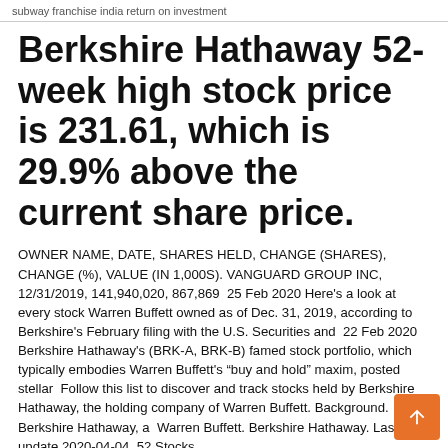subway franchise india return on investment
Berkshire Hathaway 52-week high stock price is 231.61, which is 29.9% above the current share price.
OWNER NAME, DATE, SHARES HELD, CHANGE (SHARES), CHANGE (%), VALUE (IN 1,000S). VANGUARD GROUP INC, 12/31/2019, 141,940,020, 867,869  25 Feb 2020 Here's a look at every stock Warren Buffett owned as of Dec. 31, 2019, according to Berkshire's February filing with the U.S. Securities and  22 Feb 2020 Berkshire Hathaway's (BRK-A, BRK-B) famed stock portfolio, which typically embodies Warren Buffett's “buy and hold” maxim, posted stellar  Follow this list to discover and track stocks held by Berkshire Hathaway, the holding company of Warren Buffett. Background. Berkshire Hathaway, a  Warren Buffett. Berkshire Hathaway. Last update 2020-04-04, 52 Stocks